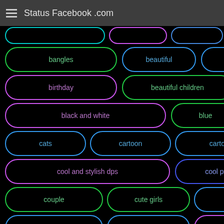Status Facebook .com
bangles
beautiful
bikes
birthday
beautiful children
best
black and white
blue
cars
cats
cartoon
cartoon girls
cool and stylish dps
cool profile picture
couple
cute girls
cute kids
cry girl
dance
dashing boys
dashing girls
display pics for girls
dolls
denim